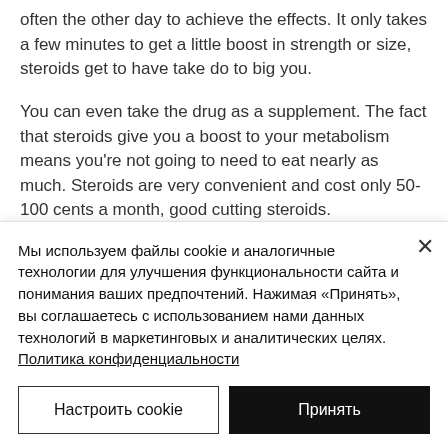often the other day to achieve the effects. It only takes a few minutes to get a little boost in strength or size, steroids get to have take do to big you.
You can even take the drug as a supplement. The fact that steroids give you a boost to your metabolism means you're not going to need to eat nearly as much. Steroids are very convenient and cost only 50-100 cents a month, good cutting steroids.
Мы используем файлы cookie и аналогичные технологии для улучшения функциональности сайта и понимания ваших предпочтений. Нажимая «Принять», вы соглашаетесь с использованием нами данных технологий в маркетинговых и аналитических целях. Политика конфиденциальности
Настроить cookie | Принять